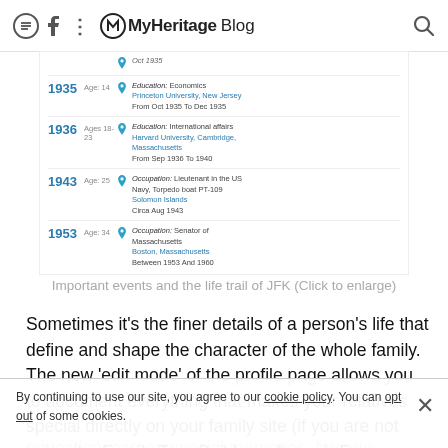MyHeritage Blog
[Figure (screenshot): Timeline of JFK life events showing years 1935, 1936, 1943, 1953 with education and occupation entries, location pins, and details about Princeton University, Harvard University, US Navy PT-109, and Senator of Massachusetts.]
Important events and the life trail of JFK (Click to enlarge)
Sometimes it’s the finer details of a person’s life that define and shape the character of the whole family. The new ‘edit mode’ of the profile page allows you to document everything that makes your relatives special directly on your family site (if you are not using the Family Tree Builder software). From adoptions and foster families to information such as
education, career, special memories, favorite sayings, likes and dislikes, religious names or nicknames, you can enter all of it directly on the profile page. Click on ‘Edit profile’ below
By continuing to use our site, you agree to our cookie policy. You can opt out of some cookies.